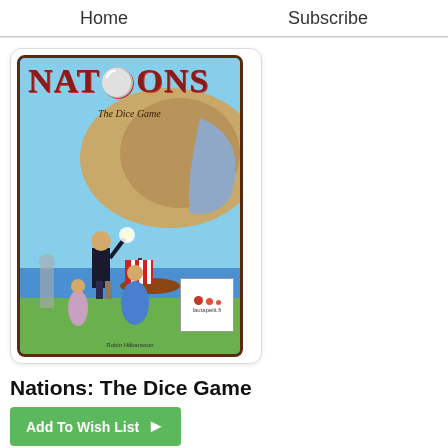Home    Subscribe
[Figure (illustration): Box art for Nations: The Dice Game board game, showing the title 'NATIONS' in large red letters with 'The Dice Game' subtitle, featuring illustrated figures including a man in a suit holding a glowing orb, a woman in a blue dress, and a Viking longship. A lautapelit.fi logo appears in the lower right. Credit: Robin Håkansson.]
Nations: The Dice Game
Add To Wish List